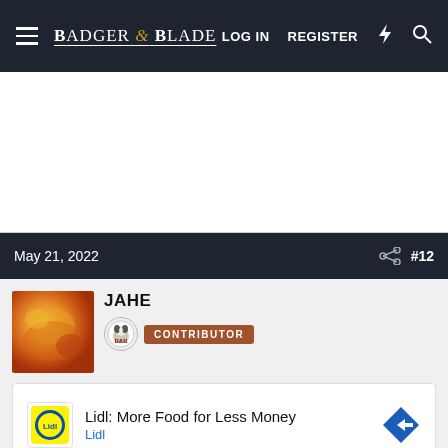BADGER & BLADE — LOG IN  REGISTER
[Figure (other): White advertisement space placeholder]
May 21, 2022  #12
JAHE  CONTRIBUTOR
[Figure (other): Lidl advertisement: Lidl: More Food for Less Money — Lidl brand ad with logo and arrow]